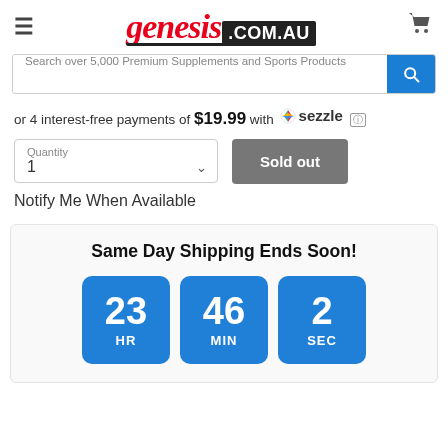genesis.com.au — navigation header with logo, hamburger menu, and cart icon
Search over 5,000 Premium Supplements and Sports Products
or 4 interest-free payments of $19.99 with sezzle
Quantity
1
Sold out
Notify Me When Available
Same Day Shipping Ends Soon!
23 HR  46 MIN  2 SEC